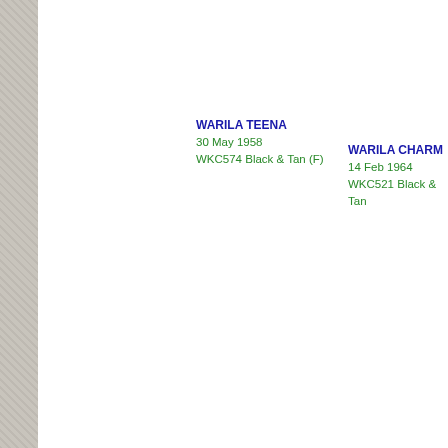WARILA TEENA
30 May 1958
WKC574 Black & Tan (F)
WARILA CHARM
14 Feb 1964
WKC521 Black & Tan